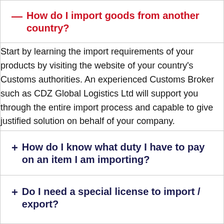— How do I import goods from another country?
Start by learning the import requirements of your products by visiting the website of your country's Customs authorities. An experienced Customs Broker such as CDZ Global Logistics Ltd will support you through the entire import process and capable to give justified solution on behalf of your company.
+ How do I know what duty I have to pay on an item I am importing?
+ Do I need a special license to import / export?